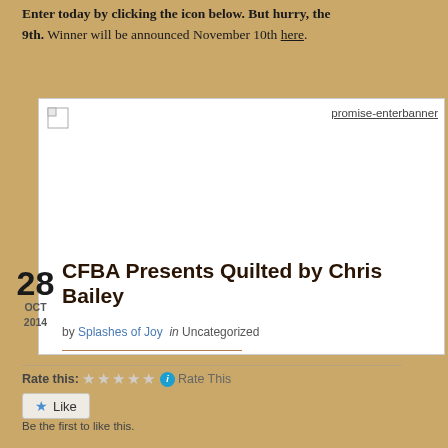Enter today by clicking the icon below. But hurry, the 9th. Winner will be announced November 10th here.
[Figure (screenshot): Broken image placeholder with link text 'promise-enterbanner' shown on white background]
Rate this: ☆☆☆☆☆ ⓘ Rate This
★ Like
Be the first to like this.
CFBA Presents Quilted by Chris Bailey
by Splashes of Joy  in Uncategorized
28 OCT 2014